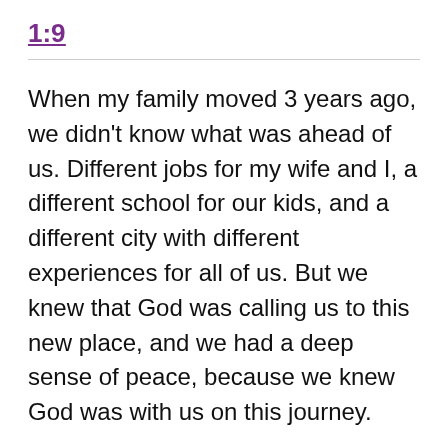1:9
When my family moved 3 years ago, we didn't know what was ahead of us. Different jobs for my wife and I, a different school for our kids, and a different city with different experiences for all of us. But we knew that God was calling us to this new place, and we had a deep sense of peace, because we knew God was with us on this journey.
God is with us and our kids wherever we go.